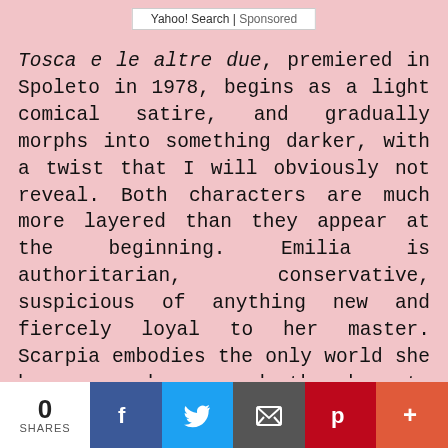Yahoo! Search | Sponsored
Tosca e le altre due, premiered in Spoleto in 1978, begins as a light comical satire, and gradually morphs into something darker, with a twist that I will obviously not reveal. Both characters are much more layered than they appear at the beginning. Emilia is authoritarian, conservative, suspicious of anything new and fiercely loyal to her master. Scarpia embodies the only world she has ever known and the key to maintain a sort of social status (in a world like Papal Rome, being the housekeeper of the most powerful person in town has its advantages).  But later she reveals
0 SHARES  [Facebook] [Twitter] [Email] [Pinterest] [More]